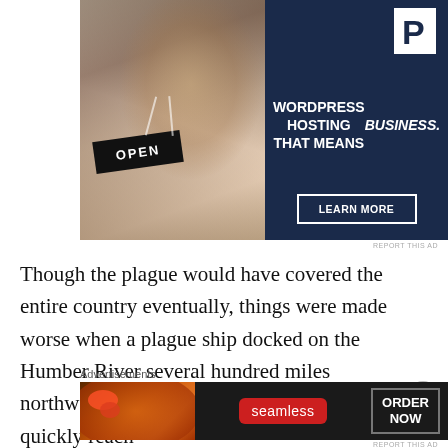[Figure (photo): Advertisement banner: woman holding an 'OPEN' sign with WordPress Hosting text and Learn More button on dark navy background]
REPORT THIS AD
Though the plague would have covered the entire country eventually, things were made worse when a plague ship docked on the Humber River several hundred miles northwards which allowed the plague to quickly reach
Advertisements
[Figure (photo): Advertisement banner: pizza photo with Seamless logo and Order Now button on dark background]